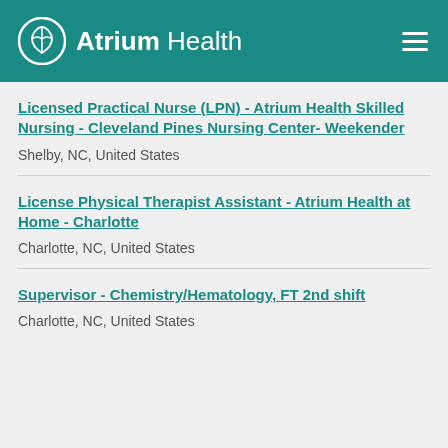Atrium Health
Licensed Practical Nurse (LPN) - Atrium Health Skilled Nursing - Cleveland Pines Nursing Center- Weekender
Shelby, NC, United States
License Physical Therapist Assistant - Atrium Health at Home - Charlotte
Charlotte, NC, United States
Supervisor - Chemistry/Hematology, FT 2nd shift
Charlotte, NC, United States